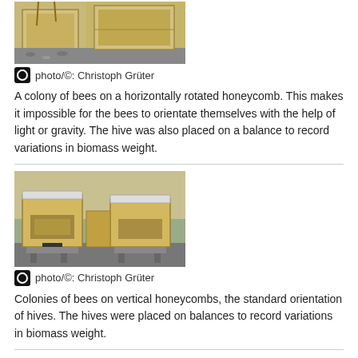[Figure (photo): A wooden beehive box with horizontally rotated honeycomb, placed outdoors on gravel/pavement.]
photo/©: Christoph Grüter
A colony of bees on a horizontally rotated honeycomb. This makes it impossible for the bees to orientate themselves with the help of light or gravity. The hive was also placed on a balance to record variations in biomass weight.
[Figure (photo): Two wooden beehive boxes on vertical honeycombs (standard orientation), placed outdoors on raised platforms.]
photo/©: Christoph Grüter
Colonies of bees on vertical honeycombs, the standard orientation of hives. The hives were placed on balances to record variations in biomass weight.
Contact
Dr. Christoph Grüter